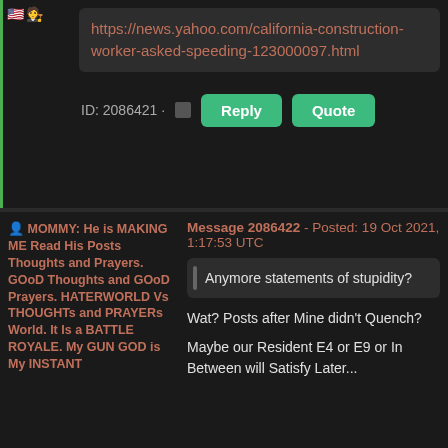[Figure (screenshot): Forum post top section with emoji icons, a URL link in a dark box, and Reply/Quote buttons]
https://news.yahoo.com/california-construction-worker-asked-speeding-123000097.html
ID: 2086421 · Reply  Quote
MOMMY: He is MAKING ME Read His Posts Thoughts and Prayers. GOoD Thoughts and GOoD Prayers. HATERWORLD Vs THOUGHTs and PRAYERs World. It Is a BATTLE ROYALE. My GUN GOD is My INSTANT...
Message 2086422 - Posted: 19 Oct 2021, 1:17:53 UTC
Anymore statements of stupidity?
Wat? Posts after Mine didn't Quench?
Maybe our Resident E4 or E9 or In Between will Satisfy Later...